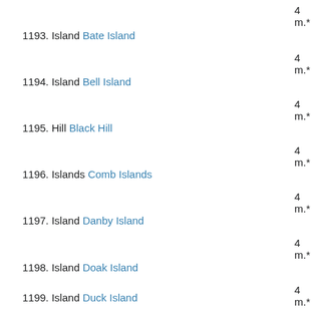4 m.*
1193. Island Bate Island
4 m.*
1194. Island Bell Island
4 m.*
1195. Hill Black Hill
4 m.*
1196. Islands Comb Islands
4 m.*
1197. Island Danby Island
4 m.*
1198. Island Doak Island
4 m.*
1199. Island Duck Island
4 m.*
1200. Island Eta Island
4 m.*
1201. Island Illutalik Island
4 m.*
1202. Island Kigirktaryuk Island
4 m.*
1203. Island Lougheed Island
4 m.*
1204. Island Moore Island